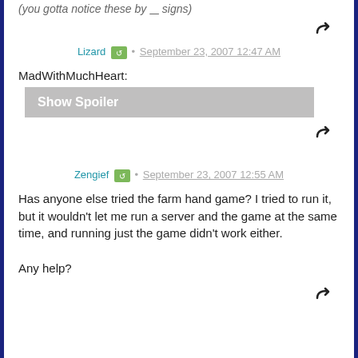(you gotta notice these by ___ signs)
[Figure (illustration): Reply arrow icon (curved arrow pointing right)]
Lizard • September 23, 2007 12:47 AM
MadWithMuchHeart:
[Figure (screenshot): Show Spoiler button (gray background)]
[Figure (illustration): Reply arrow icon (curved arrow pointing right)]
Zengief • September 23, 2007 12:55 AM
Has anyone else tried the farm hand game? I tried to run it, but it wouldn't let me run a server and the game at the same time, and running just the game didn't work either.

Any help?
[Figure (illustration): Reply arrow icon (curved arrow pointing right)]